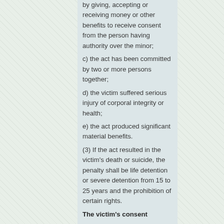by giving, accepting or receiving money or other benefits to receive consent from the person having authority over the minor; c) the act has been committed by two or more persons together; d) the victim suffered serious injury of corporal integrity or health; e) the act produced significant material benefits. (3) If the act resulted in the victim's death or suicide, the penalty shall be life detention or severe detention from 15 to 25 years and the prohibition of certain rights.
The victim's consent
Art.206 – (1) For offences in